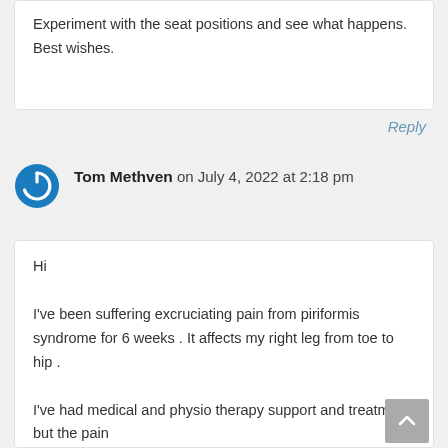Experiment with the seat positions and see what happens. Best wishes.
Reply
Tom Methven on July 4, 2022 at 2:18 pm
Hi
I've been suffering excruciating pain from piriformis syndrome for 6 weeks . It affects my right leg from toe to hip .

I've had medical and physio therapy support and treatment but the pain